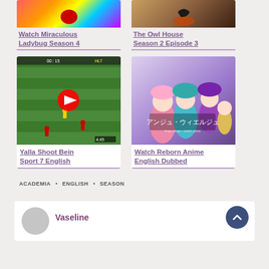[Figure (screenshot): Thumbnail for Watch Miraculous Ladybug Season 4 - colorful animated character]
Watch Miraculous Ladybug Season 4
[Figure (screenshot): Thumbnail for The Owl House Season 2 Episode 3 - dark fantasy scene]
The Owl House Season 2 Episode 3
[Figure (screenshot): Thumbnail for Yalla Shoot Bein Sport 7 English - soccer match with YouTube play button]
Yalla Shoot Bein Sport 7 English
[Figure (screenshot): Thumbnail for Watch Reborn Anime English Dubbed - anime girls characters]
Watch Reborn Anime English Dubbed
ACADEMIA • ENGLISH • SEASON
Vaseline